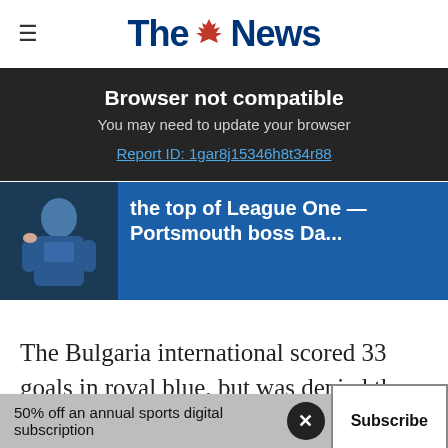The News
Browser not compatible
You may need to update your browser
Report ID: 1gar8j15346h8t34r88
[Figure (photo): Article teaser strip showing a person in blue Portsmouth FC attire with headline text: the top of League One — Portsmouth boss Da...]
The Bulgaria international scored 33 goals in royal blue, but was denied the chance to replicate his prolific form in the top-flight by a cruciate ligament injury
50% off an annual sports digital subscription   Subscribe